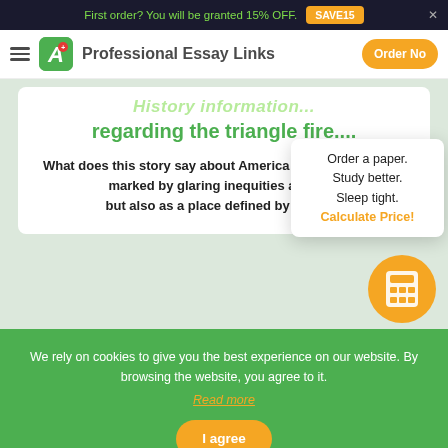First order? You will be granted 15% OFF. SAVE15
Professional Essay Links  Order Now
History information regarding the triangle fire....
What does this story say about America -- both as a nation marked by glaring inequities and in... but also as a place defined by remar...
Order a paper. Study better. Sleep tight. Calculate Price!
We rely on cookies to give you the best experience on our website. By browsing the website, you agree to it. Read more
I agree